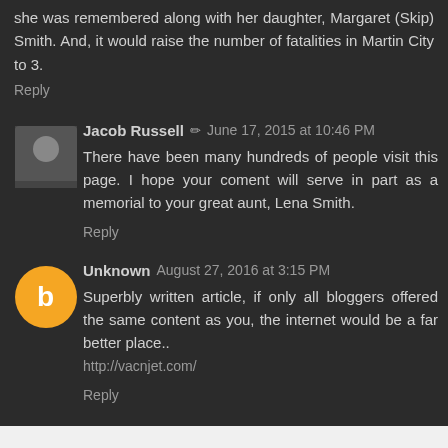she was remembered along with her daughter, Margaret (Skip) Smith. And, it would raise the number of fatalities in Martin City to 3.
Reply
Jacob Russell ✏ June 17, 2015 at 10:46 PM
There have been many hundreds of people visit this page. I hope your coment will serve in part as a memorial to your great aunt, Lena Smith.
Reply
Unknown August 27, 2016 at 3:15 PM
Superbly written article, if only all bloggers offered the same content as you, the internet would be a far better place.. http://vacnjet.com/
Reply